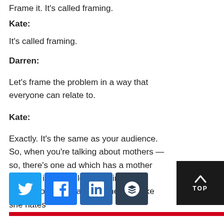Frame it. It's called framing.
Kate:
It's called framing.
Darren:
Let's frame the problem in a way that everyone can relate to.
Kate:
Exactly. It's the same as your audience. So, when you're talking about mothers — so, there's one ad which has a mother skipping in a puddle, and I find that actually offensive as a mother. Oh, like she hates
[Figure (infographic): Social sharing buttons: Twitter (blue), Facebook (blue), LinkedIn (dark blue), Buffer (dark). Red bar below. TOP button with up arrow in dark background at bottom right.]